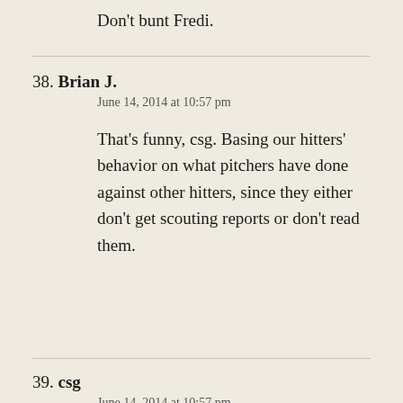Don't bunt Fredi.
38. Brian J.
June 14, 2014 at 10:57 pm

That's funny, csg. Basing our hitters' behavior on what pitchers have done against other hitters, since they either don't get scouting reports or don't read them.
39. csg
June 14, 2014 at 10:57 pm

What a crazy game. Nice balk